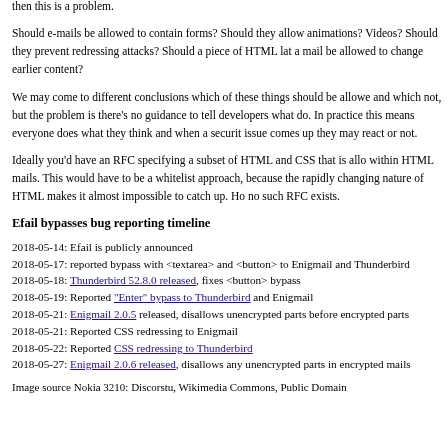that. Behavior differs between mail clients, some disable it by default, but the usually still allow users to enable it again. If loading external content opens up security bugs - like Efail - then this is a problem.
Should e-mails be allowed to contain forms? Should they allow animations? Videos? Should they prevent redressing attacks? Should a piece of HTML later in a mail be allowed to change earlier content?
We may come to different conclusions which of these things should be allowed and which not, but the problem is there's no guidance to tell developers what to do. In practice this means everyone does what they think and when a security issue comes up they may react or not.
Ideally you'd have an RFC specifying a subset of HTML and CSS that is allowed within HTML mails. This would have to be a whitelist approach, because the rapidly changing nature of HTML makes it almost impossible to catch up. However, no such RFC exists.
Efail bypasses bug reporting timeline
2018-05-14: Efail is publicly announced
2018-05-17: reported bypass with <textarea> and <button> to Enigmail and Thunderbird
2018-05-18: Thunderbird 52.8.0 released, fixes <button> bypass
2018-05-19: Reported "Enter" bypass to Thunderbird and Enigmail
2018-05-21: Enigmail 2.0.5 released, disallows unencrypted parts before encrypted parts
2018-05-21: Reported CSS redressing to Enigmail
2018-05-22: Reported CSS redressing to Thunderbird
2018-05-27: Enigmail 2.0.6 released, disallows any unencrypted parts in encrypted mails
Image source Nokia 3210: Discorstu, Wikimedia Commons, Public Domain